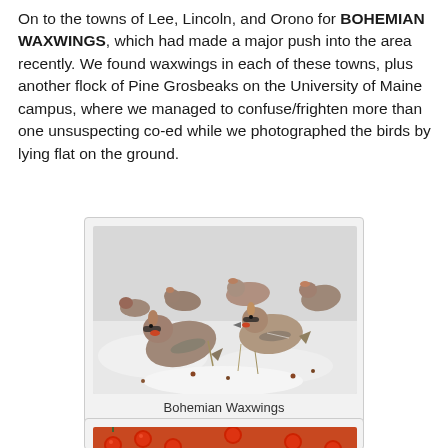On to the towns of Lee, Lincoln, and Orono for BOHEMIAN WAXWINGS, which had made a major push into the area recently. We found waxwings in each of these towns, plus another flock of Pine Grosbeaks on the University of Maine campus, where we managed to confuse/frighten more than one unsuspecting co-ed while we photographed the birds by lying flat on the ground.
[Figure (photo): A flock of Bohemian Waxwings standing on snowy ground with scattered red berries and dried grass. The birds show distinctive reddish-brown crests, black masks, and gray-brown plumage.]
Bohemian Waxwings
[Figure (photo): Partial view of another bird photo showing red berries, cropped at bottom of page.]